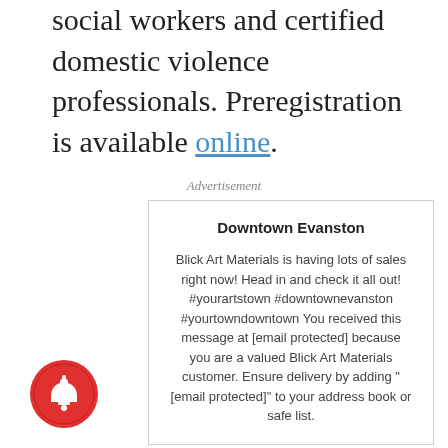social workers and certified domestic violence professionals. Preregistration is available online.
Advertisement
Downtown Evanston
Blick Art Materials is having lots of sales right now! Head in and check it all out! #yourartstown #downtownevanston #yourtowndowntown You received this message at [email protected] because you are a valued Blick Art Materials customer. Ensure delivery by adding "[email protected]" to your address book or safe list.
[Figure (illustration): Red circular bell notification icon button]